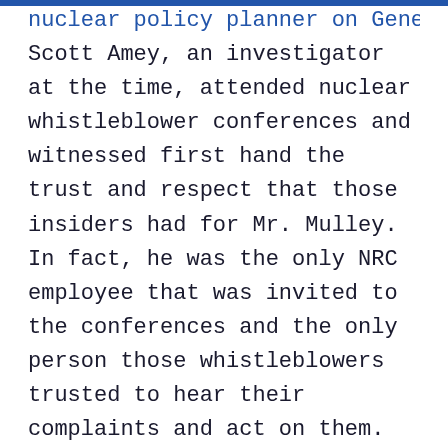nuclear policy planner on General Council, Scott Amey, an investigator at the time, attended nuclear whistleblower conferences and witnessed first hand the trust and respect that those insiders had for Mr. Mulley. In fact, he was the only NRC employee that was invited to the conferences and the only person those whistleblowers trusted to hear their complaints and act on them. Trusting government officials was not easy for those insiders, because many of them had been the targets of retaliation at the hands of the utility companies and feared the NRC.